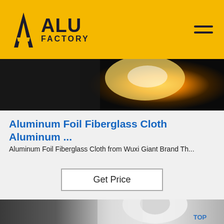ALU FACTORY
[Figure (photo): Close-up photo of metalworking with golden/orange glow from heat or molten material against dark background]
Aluminum Foil Fiberglass Cloth Aluminum ...
Aluminum Foil Fiberglass Cloth from Wuxi Giant Brand Th...
Get Price
[Figure (photo): Person in white protective suit handling a large roll of fiberglass or similar industrial material in a factory setting, with 'TOP' badge visible in bottom right corner]